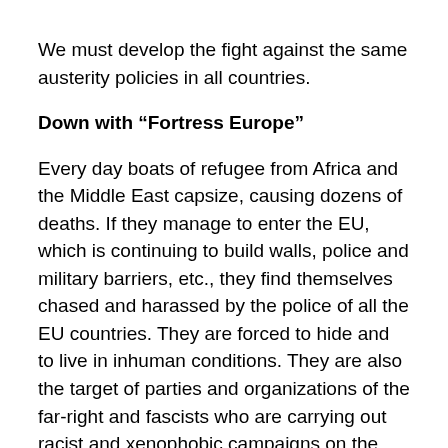We must develop the fight against the same austerity policies in all countries.
Down with “Fortress Europe”
Every day boats of refugee from Africa and the Middle East capsize, causing dozens of deaths. If they manage to enter the EU, which is continuing to build walls, police and military barriers, etc., they find themselves chased and harassed by the police of all the EU countries. They are forced to hide and to live in inhuman conditions. They are also the target of parties and organizations of the far-right and fascists who are carrying out racist and xenophobic campaigns on the theme of the dangers of the “invasion” of refugees.
These refugees, men, women and children, are fleeing